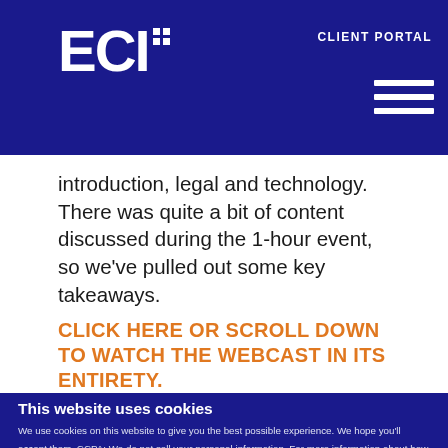ECI+ CLIENT PORTAL
introduction, legal and technology. There was quite a bit of content discussed during the 1-hour event, so we've pulled out some key takeaways.
CLICK HERE OR SCROLL DOWN TO WATCH THE WEBCAST IN ITS ENTIRETY.
This website uses cookies
We use cookies on this website to give you the best possible experience. We hope you'll accept them. CCPA: We do not sell your personal information. For more information about how we use cookies, see our Privacy Policy.
Use necessary cookies only
Allow all cookies
Show details